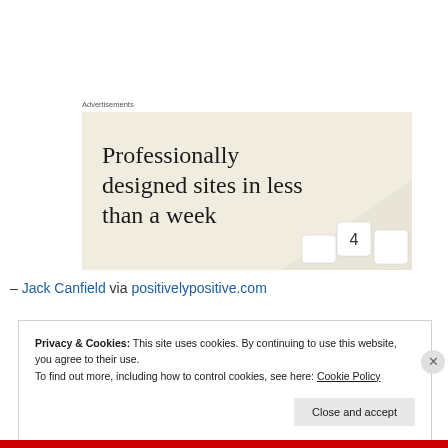Advertisements
[Figure (illustration): Advertisement banner with beige background showing text 'Professionally designed sites in less than a week' with decorative keyboard keys in the corner]
– Jack Canfield via positivelypositive.com
Privacy & Cookies: This site uses cookies. By continuing to use this website, you agree to their use.
To find out more, including how to control cookies, see here: Cookie Policy
Close and accept